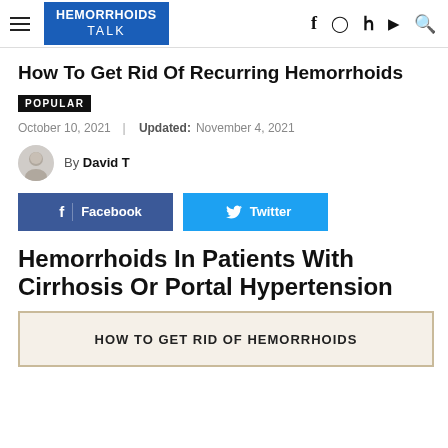HEMORRHOIDS TALK
How To Get Rid Of Recurring Hemorrhoids
POPULAR
October 10, 2021 | Updated: November 4, 2021
By David T
[Figure (illustration): Facebook and Twitter share buttons]
Hemorrhoids In Patients With Cirrhosis Or Portal Hypertension
[Figure (photo): Image with text: HOW TO GET RID OF HEMORRHOIDS]